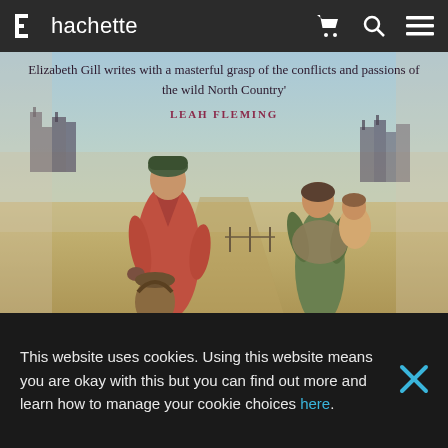hachette
[Figure (photo): Book cover image showing two women in early 20th century clothing on a bleak northern landscape. A woman in a red coat holds a basket on the left; a girl in a green dress holds a small child on the right. Buildings are visible in the misty background.]
Elizabeth Gill writes with a masterful grasp of the conflicts and passions of the wild North Country'
LEAH FLEMING
This website uses cookies. Using this website means you are okay with this but you can find out more and learn how to manage your cookie choices here.